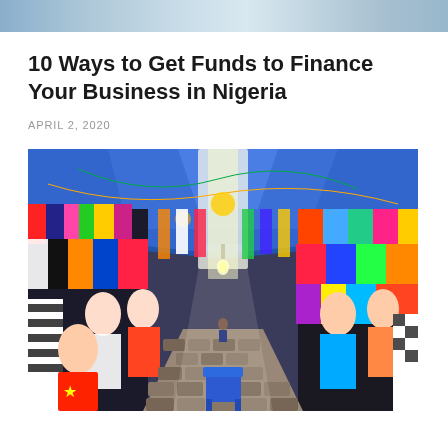[Figure (photo): Partial view of a top image strip, cropped aerial or sky scene]
10 Ways to Get Funds to Finance Your Business in Nigeria
APRIL 2, 2020
[Figure (photo): A busy Nigerian clothing market corridor with colorful garments hanging on both sides, mannequins dressed in various outfits, a blue tarp ceiling, and a cobblestone path leading into the distance]